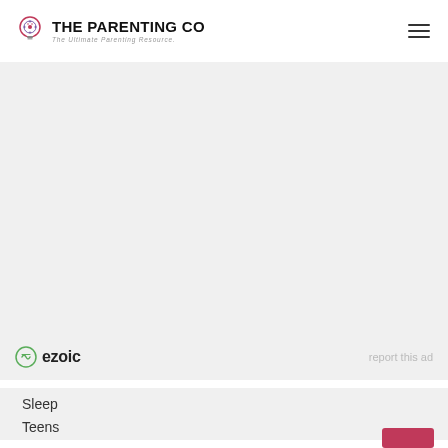THE PARENTING CO — The Ultimate Parenting Resource.
[Figure (other): Advertisement placeholder area with Ezoic branding and 'report this ad' link]
Sleep
Teens